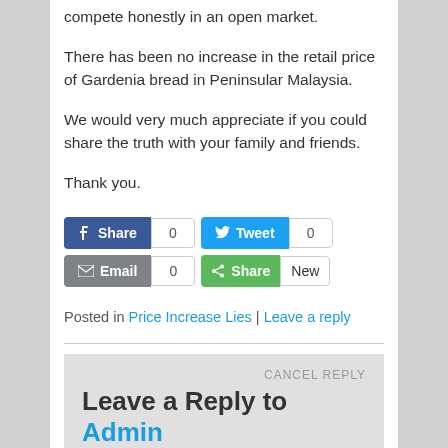compete honestly in an open market.
There has been no increase in the retail price of Gardenia bread in Peninsular Malaysia.
We would very much appreciate if you could share the truth with your family and friends.
Thank you.
[Figure (screenshot): Social share buttons: Facebook Share (0), Tweet (0), Email (0), Share (New)]
Posted in Price Increase Lies | Leave a reply
Leave a Reply to Admin CANCEL REPLY
Your email address will not be published. Required fields are marked *